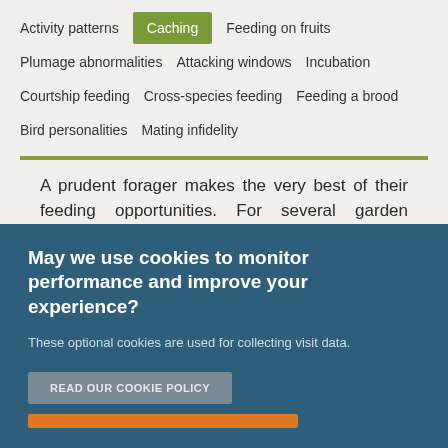Activity patterns
Caching
Feeding on fruits
Plumage abnormalities
Attacking windows
Incubation
Courtship feeding
Cross-species feeding
Feeding a brood
Bird personalities
Mating infidelity
A prudent forager makes the very best of their feeding opportunities. For several garden species, this involves storing food during times of plenty so that these morsels can be retrieved during times of scarcity.
May we use cookies to monitor performance and improve your experience?
These optional cookies are used for collecting visit data.
READ OUR COOKIE POLICY